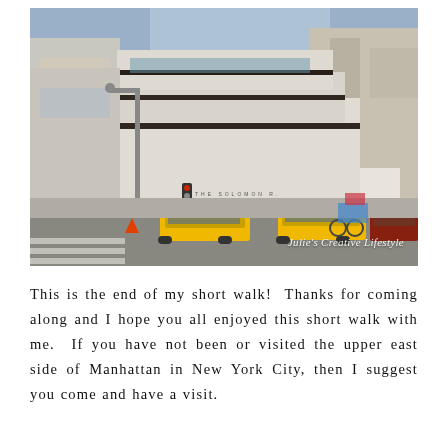[Figure (photo): Street-level photograph of the Solomon R. Guggenheim Museum in New York City. The iconic spiral white building is visible with yellow taxis in the foreground and other buildings in the background. A watermark reads "Julie's Creative Lifestyle" in italic text at the bottom right.]
This is the end of my short walk!  Thanks for coming along and I hope you all enjoyed this short walk with me.  If you have not been or visited the upper east side of Manhattan in New York City, then I suggest you come and have a visit.